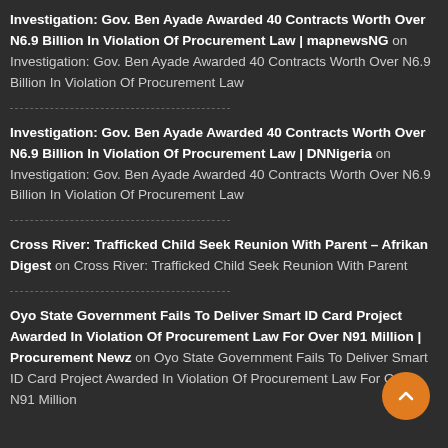Investigation: Gov. Ben Ayade Awarded 40 Contracts Worth Over N6.9 Billion In Violation Of Procurement Law | mapnewsNG on Investigation: Gov. Ben Ayade Awarded 40 Contracts Worth Over N6.9 Billion In Violation Of Procurement Law
Investigation: Gov. Ben Ayade Awarded 40 Contracts Worth Over N6.9 Billion In Violation Of Procurement Law | DNNigeria on Investigation: Gov. Ben Ayade Awarded 40 Contracts Worth Over N6.9 Billion In Violation Of Procurement Law
Cross River: Trafficked Child Seek Reunion With Parent – Afrikan Digest on Cross River: Trafficked Child Seek Reunion With Parent
Oyo State Government Fails To Deliver Smart ID Card Project Awarded In Violation Of Procurement Law For Over N91 Million | Procurement Newz on Oyo State Government Fails To Deliver Smart ID Card Project Awarded In Violation Of Procurement Law For Over N91 Million